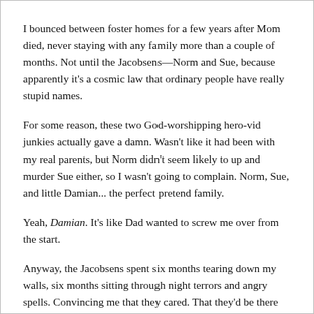I bounced between foster homes for a few years after Mom died, never staying with any family more than a couple of months. Not until the Jacobsens—Norm and Sue, because apparently it's a cosmic law that ordinary people have really stupid names.
For some reason, these two God-worshipping hero-vid junkies actually gave a damn. Wasn't like it had been with my real parents, but Norm didn't seem likely to up and murder Sue either, so I wasn't going to complain. Norm, Sue, and little Damian... the perfect pretend family.
Yeah, Damian. It's like Dad wanted to screw me over from the start.
Anyway, the Jacobsens spent six months tearing down my walls, six months sitting through night terrors and angry spells. Convincing me that they cared. That they'd be there for me through anything.